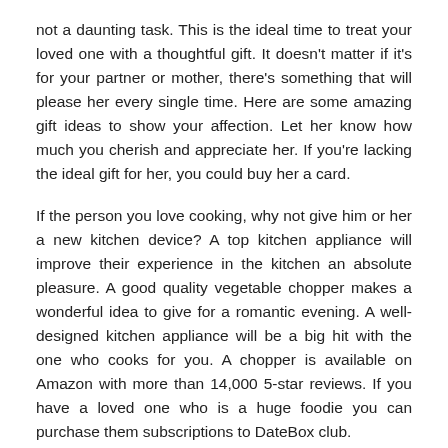not a daunting task. This is the ideal time to treat your loved one with a thoughtful gift. It doesn't matter if it's for your partner or mother, there's something that will please her every single time. Here are some amazing gift ideas to show your affection. Let her know how much you cherish and appreciate her. If you're lacking the ideal gift for her, you could buy her a card.
If the person you love cooking, why not give him or her a new kitchen device? A top kitchen appliance will improve their experience in the kitchen an absolute pleasure. A good quality vegetable chopper makes a wonderful idea to give for a romantic evening. A well-designed kitchen appliance will be a big hit with the one who cooks for you. A chopper is available on Amazon with more than 14,000 5-star reviews. If you have a loved one who is a huge foodie you can purchase them subscriptions to DateBox club.